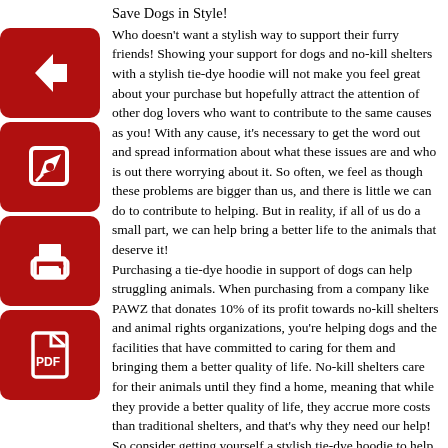Save Dogs in Style!
Who doesn't want a stylish way to support their furry friends! Showing your support for dogs and no-kill shelters with a stylish tie-dye hoodie will not make you feel great about your purchase but hopefully attract the attention of other dog lovers who want to contribute to the same causes as you! With any cause, it's necessary to get the word out and spread information about what these issues are and who is out there worrying about it. So often, we feel as though these problems are bigger than us, and there is little we can do to contribute to helping. But in reality, if all of us do a small part, we can help bring a better life to the animals that deserve it!
Purchasing a tie-dye hoodie in support of dogs can help struggling animals. When purchasing from a company like PAWZ that donates 10% of its profit towards no-kill shelters and animal rights organizations, you're helping dogs and the facilities that have committed to caring for them and bringing them a better quality of life. No-kill shelters care for their animals until they find a home, meaning that while they provide a better quality of life, they accrue more costs than traditional shelters, and that's why they need our help! So consider getting yourself a stylish tie-dye hoodie to help dogs find a home today!